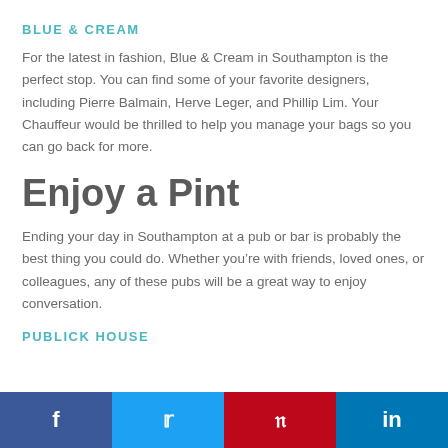BLUE & CREAM
For the latest in fashion, Blue & Cream in Southampton is the perfect stop. You can find some of your favorite designers, including Pierre Balmain, Herve Leger, and Phillip Lim. Your Chauffeur would be thrilled to help you manage your bags so you can go back for more.
Enjoy a Pint
Ending your day in Southampton at a pub or bar is probably the best thing you could do. Whether you’re with friends, loved ones, or colleagues, any of these pubs will be a great way to enjoy conversation.
PUBLICK HOUSE
f  •  Twitter  •  Pinterest  •  in